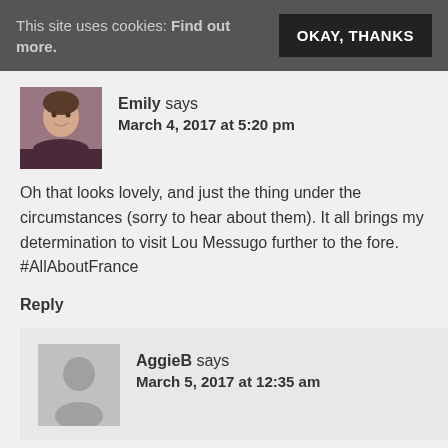This site uses cookies: Find out more.  OKAY, THANKS
Emily says
March 4, 2017 at 5:20 pm
Oh that looks lovely, and just the thing under the circumstances (sorry to hear about them). It all brings my determination to visit Lou Messugo further to the fore. #AllAboutFrance
Reply
AggieB says
March 5, 2017 at 12:35 am